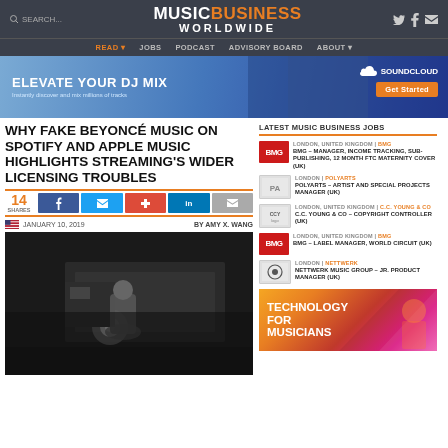MUSIC BUSINESS WORLDWIDE — Navigation: READ, JOBS, PODCAST, ADVISORY BOARD, ABOUT
[Figure (illustration): SoundCloud ad banner: ELEVATE YOUR DJ MIX — Instantly discover and mix millions of tracks — Get Started]
WHY FAKE BEYONCÉ MUSIC ON SPOTIFY AND APPLE MUSIC HIGHLIGHTS STREAMING'S WIDER LICENSING TROUBLES
[Figure (photo): Black and white photo of a woman (resembling Beyoncé) standing in front of a truck at night]
LATEST MUSIC BUSINESS JOBS
LONDON, UNITED KINGDOM | BMG — BMG – MANAGER, INCOME TRACKING, SUB-PUBLISHING, 12 MONTH FTC MATERNITY COVER (UK)
LONDON | POLYARTS — POLYARTS – ARTIST AND SPECIAL PROJECTS MANAGER (UK)
LONDON, UNITED KINGDOM | C.C. YOUNG & CO — C.C. YOUNG & CO – COPYRIGHT CONTROLLER (UK)
LONDON, UNITED KINGDOM | BMG — BMG – LABEL MANAGER, WORLD CIRCUIT (UK)
LONDON | NETTWERK — NETTWERK MUSIC GROUP – JR. PRODUCT MANAGER (UK)
[Figure (illustration): Technology for Musicians colorful advertisement banner]
14 SHARES
JANUARY 10, 2019 BY AMY X. WANG